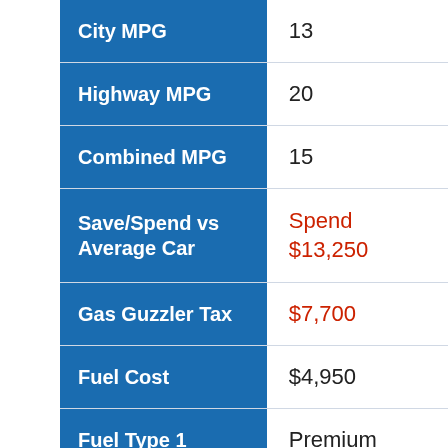| Attribute | Value |
| --- | --- |
| City MPG | 13 |
| Highway MPG | 20 |
| Combined MPG | 15 |
| Save/Spend vs Average Car | Spend $13,250 |
| Gas Guzzler Tax | $7,700 |
| Fuel Cost | $4,950 |
| Fuel Type 1 | Premium |
| Barrels of | 20 |